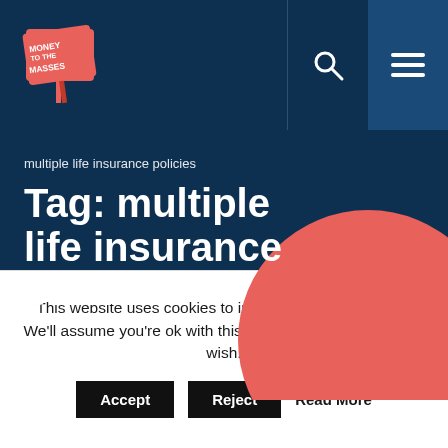Money to the Masses
multiple life insurance policies
Tag: multiple life insurance policies
This website uses cookies to improve your experience. We'll assume you're ok with this, but you can opt-out if you wish.
Accept   Reject   Read More